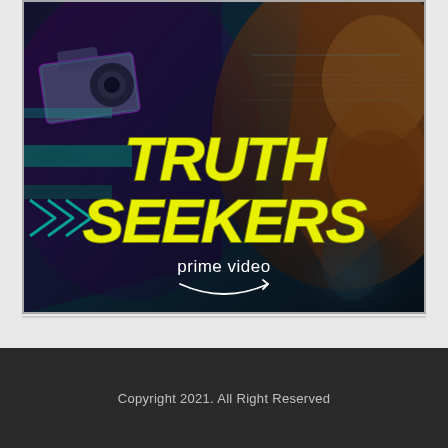[Figure (photo): Promotional poster for 'Truth Seekers' on Amazon Prime Video. Dark teal/blue background with two characters — one on the left holding a camera in colorful lighting, one on the right with a large beard. Bold yellow italic text reads 'TRUTH SEEKERS' in the center, with the Prime Video logo (white text and Amazon arrow) below.]
Copyright 2021. All Right Reserved